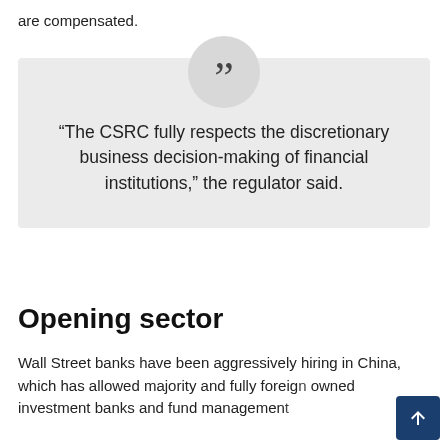are compensated.
“The CSRC fully respects the discretionary business decision-making of financial institutions,” the regulator said.
Opening sector
Wall Street banks have been aggressively hiring in China, which has allowed majority and fully foreign owned investment banks and fund management